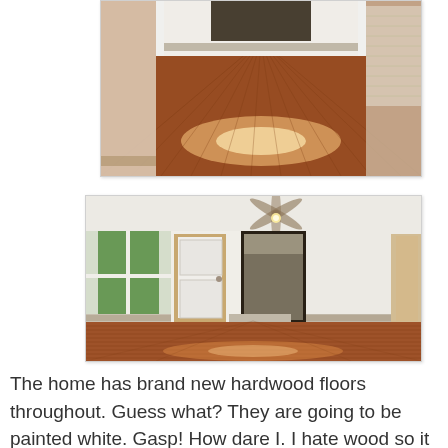[Figure (photo): Interior hallway with shiny refinished hardwood floors, viewed from above looking down a corridor with white trim and baseboard heaters, warm brown wood tones with light reflection.]
[Figure (photo): Interior living room with brand new hardwood floors, white walls, ceiling fan with light, a door to outside on the left with green trees visible through window, another door opening to a kitchen area, baseboard heaters along walls.]
The home has brand new hardwood floors throughout.  Guess what?  They are going to be painted white.  Gasp!  How dare I.  I hate wood so it